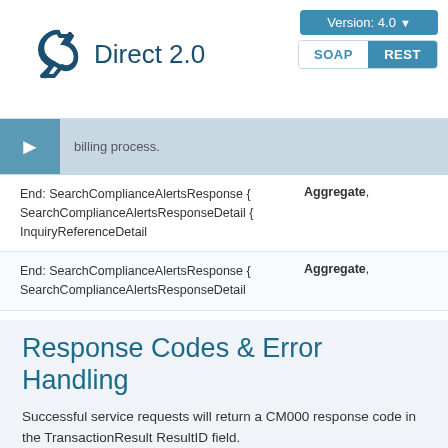Direct 2.0 | Version: 4.0 | SOAP | REST
billing process.
| Name | Type |
| --- | --- |
| End: SearchComplianceAlertsResponse { SearchComplianceAlertsResponseDetail { InquiryReferenceDetail | Aggregate, |
| End: SearchComplianceAlertsResponse { SearchComplianceAlertsResponseDetail | Aggregate, |
| End: SearchComplianceAlertsResponse | Aggregate, |
Response Codes & Error Handling
Successful service requests will return a CM000 response code in the TransactionResult ResultID field.
When there is No match returned during screening, Services will return CM018 response code.